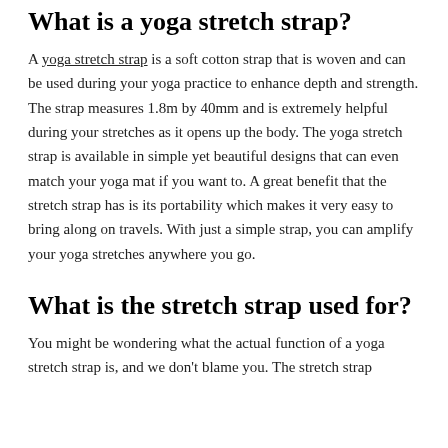What is a yoga stretch strap?
A yoga stretch strap is a soft cotton strap that is woven and can be used during your yoga practice to enhance depth and strength. The strap measures 1.8m by 40mm and is extremely helpful during your stretches as it opens up the body. The yoga stretch strap is available in simple yet beautiful designs that can even match your yoga mat if you want to. A great benefit that the stretch strap has is its portability which makes it very easy to bring along on travels. With just a simple strap, you can amplify your yoga stretches anywhere you go.
What is the stretch strap used for?
You might be wondering what the actual function of a yoga stretch strap is, and we don't blame you. The stretch strap